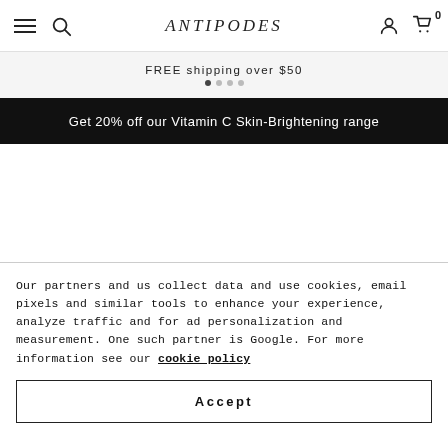Antipodes
FREE shipping over $50
Get 20% off our Vitamin C Skin-Brightening range
Our partners and us collect data and use cookies, email pixels and similar tools to enhance your experience, analyze traffic and for ad personalization and measurement. One such partner is Google. For more information see our cookie policy
Accept